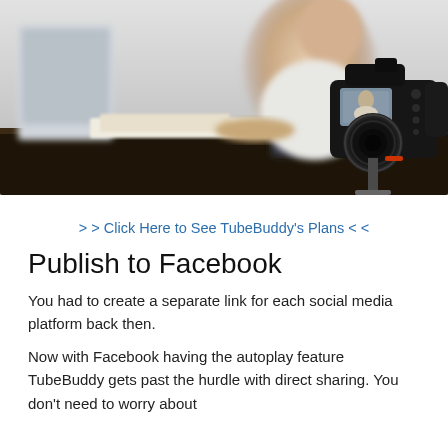[Figure (photo): A person sitting at a dark desk working, with a Canon DSLR camera on a tripod in the foreground (in focus), and the person and monitor blurred in the background.]
> > Click Here to See TubeBuddy's Plans < <
Publish to Facebook
You had to create a separate link for each social media platform back then.
Now with Facebook having the autoplay feature TubeBuddy gets past the hurdle with direct sharing. You don't need to worry about